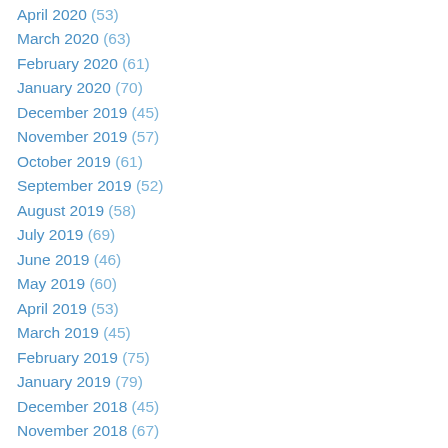April 2020 (53)
March 2020 (63)
February 2020 (61)
January 2020 (70)
December 2019 (45)
November 2019 (57)
October 2019 (61)
September 2019 (52)
August 2019 (58)
July 2019 (69)
June 2019 (46)
May 2019 (60)
April 2019 (53)
March 2019 (45)
February 2019 (75)
January 2019 (79)
December 2018 (45)
November 2018 (67)
October 2018 (75)